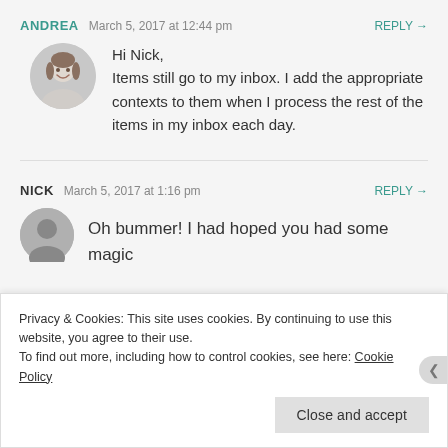ANDREA  March 5, 2017 at 12:44 pm  REPLY →
[Figure (photo): Circular avatar photo of Andrea, a woman smiling, grayscale/sepia tone]
Hi Nick,
Items still go to my inbox. I add the appropriate contexts to them when I process the rest of the items in my inbox each day.
NICK  March 5, 2017 at 1:16 pm  REPLY →
[Figure (photo): Circular grey default avatar for Nick]
Oh bummer! I had hoped you had some magic
Privacy & Cookies: This site uses cookies. By continuing to use this website, you agree to their use.
To find out more, including how to control cookies, see here: Cookie Policy
Close and accept